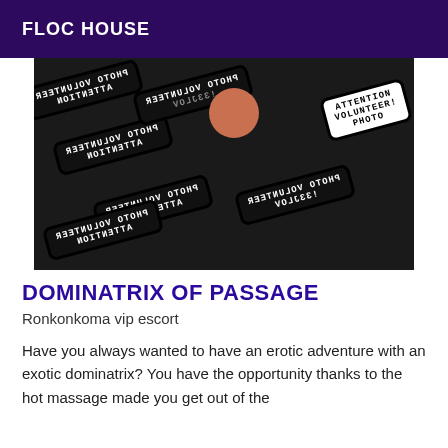FLOC HOUSE
[Figure (photo): Close-up photo of multiple black rectangular stamps or badges with rounded corners, showing mirrored/reversed text reading 'PHOTO VOLUNTEER' and 'ATTENTION'. One stamp on the right has a white background with black text. A person's fingers/hand is partially visible holding one of the stamps.]
DOMINATRIX OF PASSAGE
Ronkonkoma vip escort
Have you always wanted to have an erotic adventure with an exotic dominatrix? You have the opportunity thanks to the hot massage made you get out of the